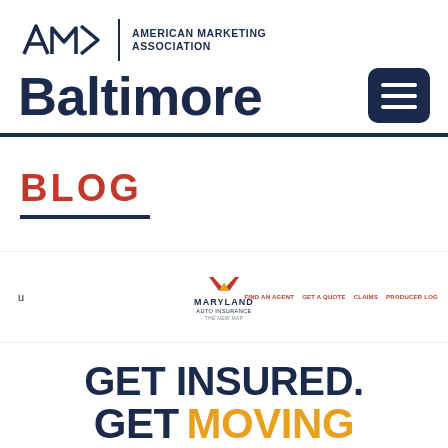[Figure (logo): American Marketing Association Baltimore chapter logo with AMA chevron symbol and text]
Baltimore
BLOG
[Figure (screenshot): Maryland Auto Insurance website screenshot showing logo, navigation links: FIND AN AGENT, GET A QUOTE, CLAIMS, PRODUCER LOG]
GET INSURED.
GET MOVING